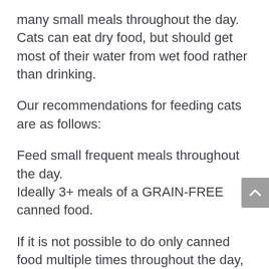many small meals throughout the day. Cats can eat dry food, but should get most of their water from wet food rather than drinking.
Our recommendations for feeding cats are as follows:
Feed small frequent meals throughout the day.
Ideally 3+ meals of a GRAIN-FREE canned food.
If it is not possible to do only canned food multiple times throughout the day, then we recommend keeping a dry grain